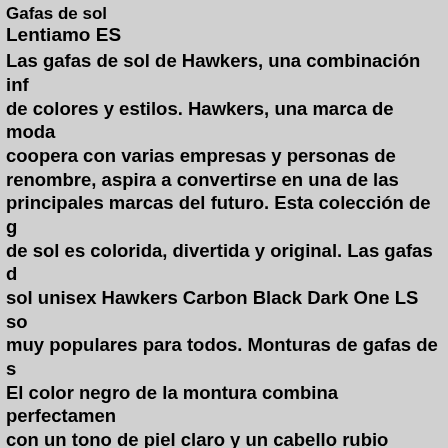Gafas de sol
Lentiamo ES
Las gafas de sol de Hawkers, una combinación inf de colores y estilos. Hawkers, una marca de moda coopera con varias empresas y personas de renombre, aspira a convertirse en una de las principales marcas del futuro. Esta colección de g de sol es colorida, divertida y original. Las gafas d sol unisex Hawkers Carbon Black Dark One LS so muy populares para todos. Monturas de gafas de s El color negro de la montura combina perfectamen con un tono de piel claro y un cabello rubio claro, castaño claro o negro. Las monturas cuadradas se una opción ideal para quienes tienen una forma de cara redonda, ovalada o triangular. La montura de gafas de sol está hecha de pasta de alta calidad, q ofrece una gran durabilidad, comodidad de uso y n aspecto excepcional. Cristales de gafas de sol Los cristales grises reducen la intensidad de la luz sin afectar al contraste ni distorsionar los colores. Las lentes son de plástico, cuyas ventajas innegables la ligereza y la resistencia a las roturas. Las gafas